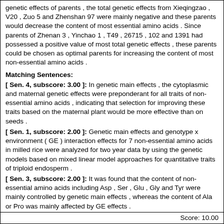genetic effects of parents , the total genetic effects from Xieqingzao , V20 , Zuo 5 and Zhenshan 97 were mainly negative and these parents would decrease the content of most essential amino acids . Since parents of Zhenan 3 , Yinchao 1 , T49 , 26715 , 102 and 1391 had possessed a positive value of most total genetic effects , these parents could be chosen as optimal parents for increasing the content of most non-essential amino acids .
Matching Sentences:
[ Sen. 4, subscore: 3.00 ]: In genetic main effects , the cytoplasmic and maternal genetic effects were preponderant for all traits of non-essential amino acids , indicating that selection for improving these traits based on the maternal plant would be more effective than on seeds .
[ Sen. 1, subscore: 2.00 ]: Genetic main effects and genotype x environment ( GE ) interaction effects for 7 non-essential amino acids in milled rice were analyzed for two year data by using the genetic models based on mixed linear model approaches for quantitative traits of triploid endosperm .
[ Sen. 3, subscore: 2.00 ]: It was found that the content of non-essential amino acids including Asp , Ser , Glu , Gly and Tyr were mainly controlled by genetic main effects , whereas the content of Ala or Pro was mainly affected by GE effects .
[ Sen. 6, subscore: 2.00 ]: By predicating the genetic effects of parents , the total genetic effects from Xieqingzao , V20 , Zuo 5 and Zhenshan 97 were mainly negative and these parents would decrease the content of most essential amino acids .
[ Sen. 7, subscore: 1.00 ]: Since parents of Zhenan 3 , Yinchao 1 , T49 , 26715 , 102 and 1391 had possessed a positive value of most total genetic effects , these parents could be chosen as optimal parents for increasing the content of most non-essential amino acids .
Score: 10.00